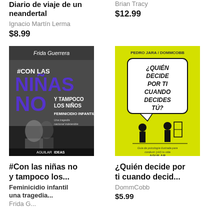Diario de viaje de un neandertal
Ignacio Martín Lerma
$8.99
Brian Tracy
$12.99
[Figure (photo): Book cover: #Con las niñas no y tampoco los niños - Feminicidio infantil, by Frida Guerrera. Black and white photo of a child, with bold purple and white text. Aguilar Ideas publisher.]
[Figure (photo): Book cover: ¿Quién decide por ti cuando decides tú? by Pedro Jara / DommCobb. Yellow background with hand-drawn speech bubble and silhouette illustration. Aguilar publisher.]
#Con las niñas no y tampoco los...
Feminicidio infantil una tragedia...
Frida G...
¿Quién decide por ti cuando decid...
DommCobb
$5.99